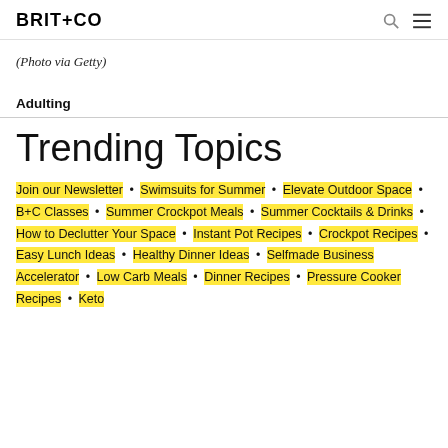BRIT+CO
(Photo via Getty)
Adulting
Trending Topics
Join our Newsletter • Swimsuits for Summer • Elevate Outdoor Space • B+C Classes • Summer Crockpot Meals • Summer Cocktails & Drinks • How to Declutter Your Space • Instant Pot Recipes • Crockpot Recipes • Easy Lunch Ideas • Healthy Dinner Ideas • Selfmade Business Accelerator • Low Carb Meals • Dinner Recipes • Pressure Cooker Recipes • Keto